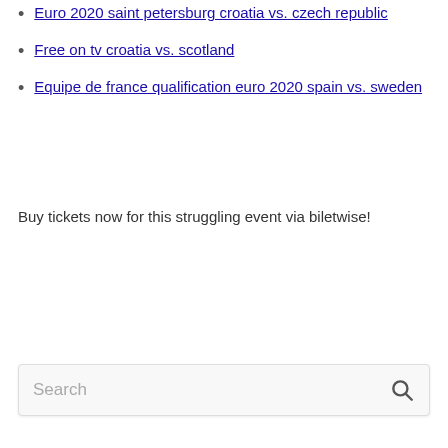Euro 2020 saint petersburg croatia vs. czech republic
Free on tv croatia vs. scotland
Equipe de france qualification euro 2020 spain vs. sweden
Buy tickets now for this struggling event via biletwise!
Search